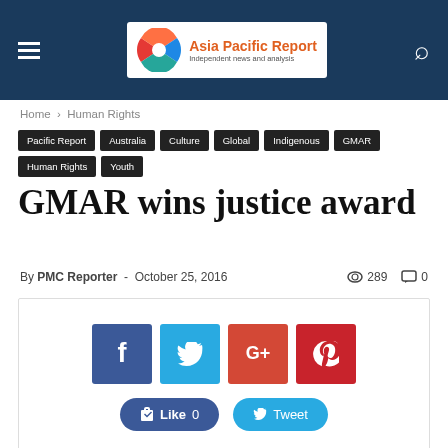Asia Pacific Report — Independent news and analysis
Home › Human Rights
Pacific Report | Australia | Culture | Global | Indigenous | GMAR | Human Rights | Youth
GMAR wins justice award
By PMC Reporter - October 25, 2016   289   0
[Figure (other): Social share buttons: Facebook, Twitter, Google+, Pinterest icons and Like 0 / Tweet buttons]